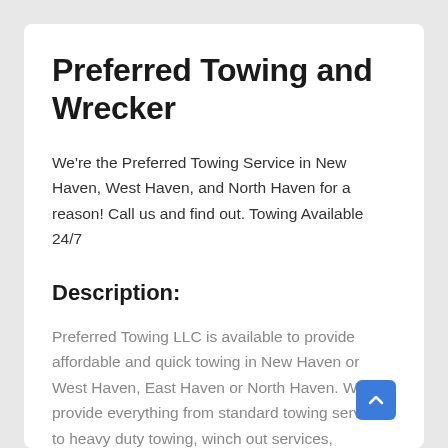Preferred Towing and Wrecker
We're the Preferred Towing Service in New Haven, West Haven, and North Haven for a reason! Call us and find out. Towing Available 24/7
Description:
Preferred Towing LLC is available to provide affordable and quick towing in New Haven or West Haven, East Haven or North Haven. We provide everything from standard towing services to heavy duty towing, winch out services, lockouts, roadside assistance, wrecker services, and tow truck services, and providing our services in most areas of New Haven County including